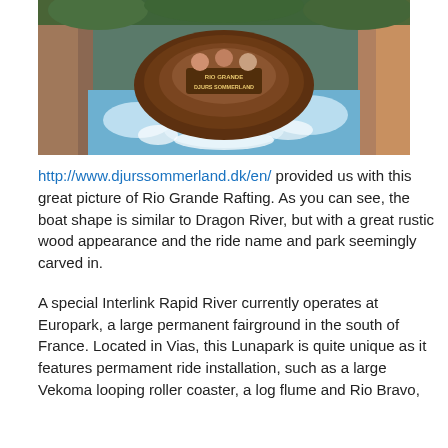[Figure (photo): Aerial view of a water rafting ride boat labeled 'Rio Grande Djurs Sommerland' going down a flume with splashing water and rocky walls on both sides.]
http://www.djurssommerland.dk/en/ provided us with this great picture of Rio Grande Rafting.  As you can see, the boat shape is similar to Dragon River, but with a great rustic wood appearance and the ride name and park seemingly carved in.
A special Interlink Rapid River currently operates at Europark, a large permanent fairground in the south of France.  Located in Vias, this Lunapark is quite unique as it features permament ride installation, such as a large Vekoma looping roller coaster, a log flume and Rio Bravo, a Rapid River ride and there will be more to come.